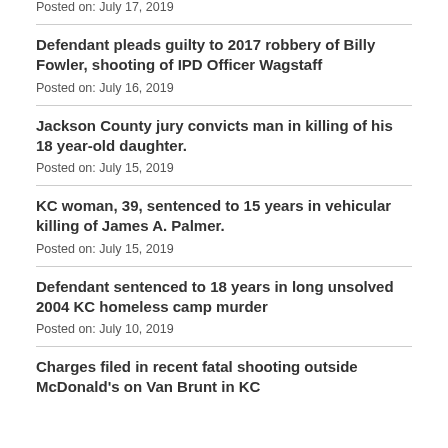Posted on: July 17, 2019
Defendant pleads guilty to 2017 robbery of Billy Fowler, shooting of IPD Officer Wagstaff
Posted on: July 16, 2019
Jackson County jury convicts man in killing of his 18 year-old daughter.
Posted on: July 15, 2019
KC woman, 39, sentenced to 15 years in vehicular killing of James A. Palmer.
Posted on: July 15, 2019
Defendant sentenced to 18 years in long unsolved 2004 KC homeless camp murder
Posted on: July 10, 2019
Charges filed in recent fatal shooting outside McDonald's on Van Brunt in KC